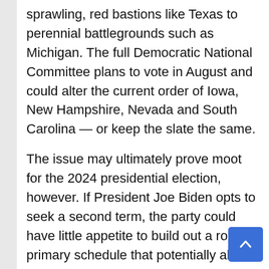sprawling, red bastions like Texas to perennial battlegrounds such as Michigan. The full Democratic National Committee plans to vote in August and could alter the current order of Iowa, New Hampshire, Nevada and South Carolina — or keep the slate the same.
The issue may ultimately prove moot for the 2024 presidential election, however. If President Joe Biden opts to seek a second term, the party could have little appetite to build out a robust primary schedule that potentially allows another Democrat to challenge him for the nomination.
The Republican National Committee has already decided to keep Iowa first in its presidential nominating process. Many of its